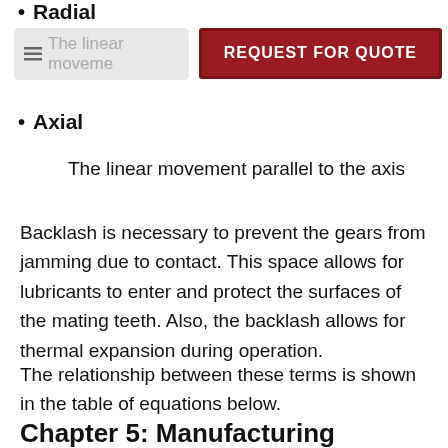Radial
[Figure (other): Navigation menu icon with partial text 'The linear moveme' and a red 'REQUEST FOR QUOTE' button overlay]
Axial
The linear movement parallel to the axis
Backlash is necessary to prevent the gears from jamming due to contact. This space allows for lubricants to enter and protect the surfaces of the mating teeth. Also, the backlash allows for thermal expansion during operation.
The relationship between these terms is shown in the table of equations below.
Chapter 5: Manufacturing